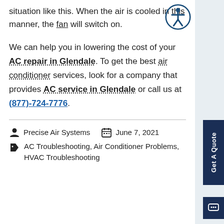situation like this. When the air is cooled in this manner, the fan will switch on.
We can help you in lowering the cost of your AC repair in Glendale. To get the best air conditioner services, look for a company that provides AC service in Glendale or call us at (877)-724-7776.
Precise Air Systems   June 7, 2021
AC Troubleshooting, Air Conditioner Problems, HVAC Troubleshooting